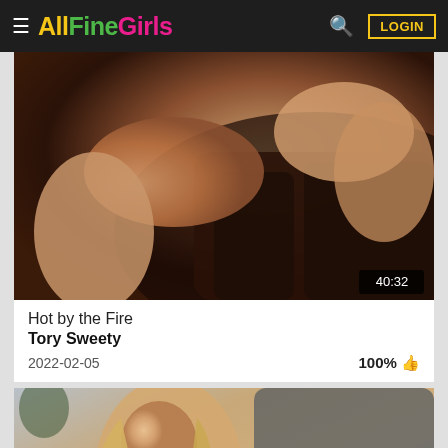AllFineGirls  LOGIN
[Figure (photo): Video thumbnail showing two women on a dark leather couch, duration badge showing 40:32]
Hot by the Fire
Tory Sweety
2022-02-05  100%
[Figure (photo): Video thumbnail showing a blonde woman in pink lingerie with black stockings]